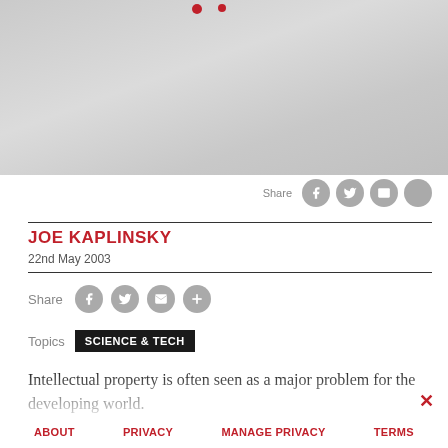[Figure (photo): Crumpled paper or map background banner image with red dots overlay at top]
JOE KAPLINSKY
22nd May 2003
Share
Topics   SCIENCE & TECH
Intellectual property is often seen as a major problem for the developing world.
AIDS drugs patents held by Western pharmaceutical companies are criticised for preventing cheap access...
ABOUT   PRIVACY   MANAGE PRIVACY   TERMS